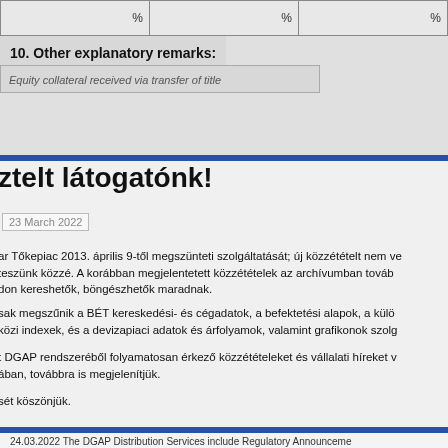| % | % | % |
10. Other explanatory remarks:
Equity collateral received via transfer of title
ztelt látogatónk!
23 March 2022
ar Tőkepiac 2013. április 9-től megszünteti szolgáltatását; új közzétételt nem ve teszünk közzé. A korábban megjelentetett közzétételek az archívumban továb don kereshetők, böngészhetők maradnak.
sak megszűnik a BÉT kereskedési- és cégadatok, a befektetési alapok, a külö közi indexek, és a devizapiaci adatok és árfolyamok, valamint grafikonok szolg
t DGAP rendszeréből folyamatosan érkező közzétételeket és vállalati híreket v ában, továbbra is megjelenítjük.
sét köszönjük.
24.03.2022 The DGAP Distribution Services include Regulatory Announceme and Press Releases.
Archivo at www.dgap.de.